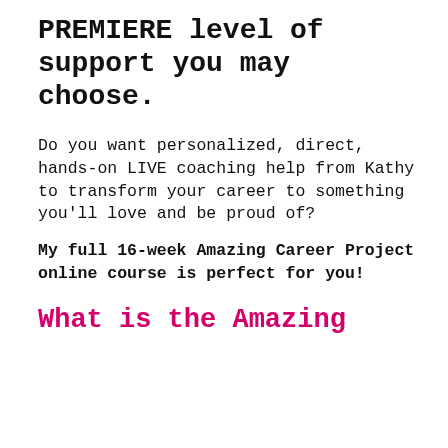PREMIERE level of support you may choose.
Do you want personalized, direct, hands-on LIVE coaching help from Kathy to transform your career to something you'll love and be proud of?
My full 16-week Amazing Career Project online course is perfect for you!
What is the Amazing